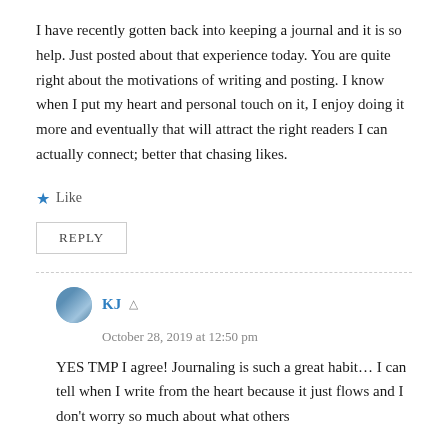I have recently gotten back into keeping a journal and it is so help. Just posted about that experience today. You are quite right about the motivations of writing and posting. I know when I put my heart and personal touch on it, I enjoy doing it more and eventually that will attract the right readers I can actually connect; better that chasing likes.
★ Like
REPLY
KJ
October 28, 2019 at 12:50 pm
YES TMP I agree! Journaling is such a great habit… I can tell when I write from the heart because it just flows and I don't worry so much about what others